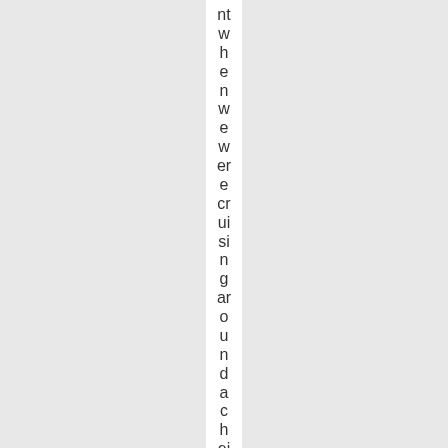nt w h e n w e w er e cr ui si n g ar o u n d a c h ei vi n g s